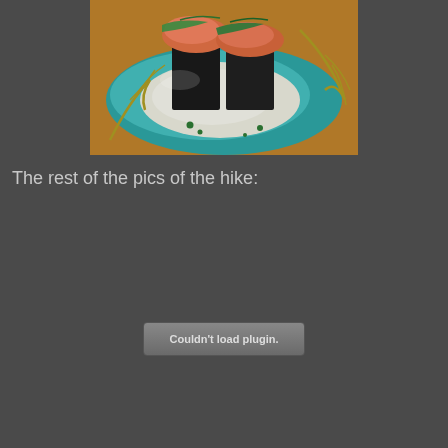[Figure (photo): Photo of sushi gunkan rolls topped with spicy salmon and green garnish, served on a teal/turquoise decorative plate with gold branch patterns, on a warm orange background]
The rest of the pics of the hike:
[Figure (other): Plugin embed area showing 'Couldn't load plugin.' error message in a grey rounded rectangle button]